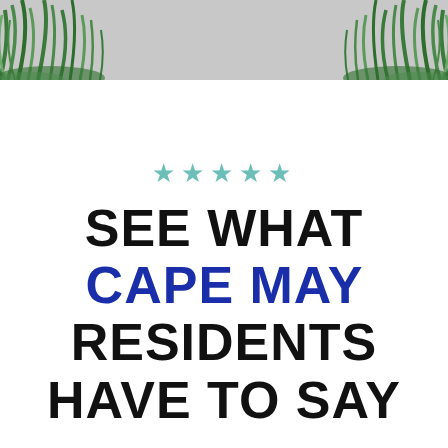[Figure (photo): Decorative photo strip at top of page showing green grass/plants on left and right sides with a gray concrete path or surface in the center]
★★★★★ SEE WHAT CAPE MAY RESIDENTS HAVE TO SAY